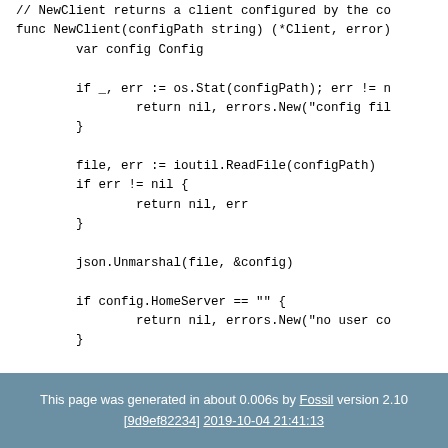// NewClient returns a client configured by the co
func NewClient(configPath string) (*Client, error)
        var config Config

        if _, err := os.Stat(configPath); err != n
                return nil, errors.New("config fil
        }

        file, err := ioutil.ReadFile(configPath)
        if err != nil {
                return nil, err
        }

        json.Unmarshal(file, &config)

        if config.HomeServer == "" {
                return nil, errors.New("no user co
        }

        if config.MediaBaseUrl == "" {
                config.MediaBaseUrl = config.HomeS
        }

        return NewRawClient(config.HomeServer, con
}
This page was generated in about 0.006s by Fossil version 2.10 [9d9ef82234] 2019-10-04 21:41:13